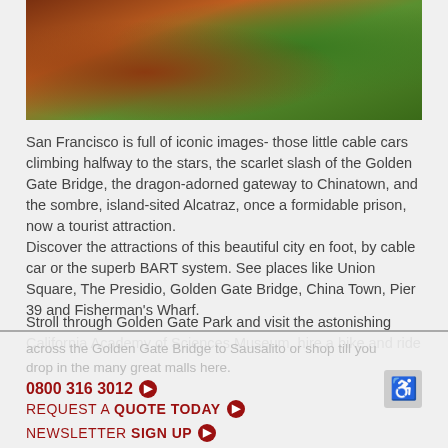[Figure (photo): Outdoor nature/landscape photo showing trees with orange-red bark and green hillside]
San Francisco is full of iconic images- those little cable cars climbing halfway to the stars, the scarlet slash of the Golden Gate Bridge, the dragon-adorned gateway to Chinatown, and the sombre, island-sited Alcatraz, once a formidable prison, now a tourist attraction.
Discover the attractions of this beautiful city en foot, by cable car or the superb BART system. See places like Union Square, The Presidio, Golden Gate Bridge, China Town, Pier 39 and Fisherman's Wharf.
Stroll through Golden Gate Park and visit the astonishing California Academy of Sciences Museum, hire a bike and ride
across the Golden Gate Bridge to Sausalito or shop till you drop in the many great malls here.
0800 316 3012
REQUEST A QUOTE TODAY
NEWSLETTER SIGN UP